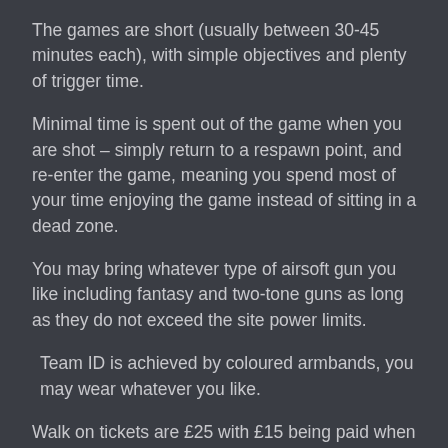The games are short (usually between 30-45 minutes each), with simple objectives and plenty of trigger time.
Minimal time is spent out of the game when you are shot – simply return to a respawn point, and re-enter the game, meaning you spend most of your time enjoying the game instead of sitting in a dead zone.
You may bring whatever type of airsoft gun you like including fantasy and two-tone guns as long as they do not exceed the site power limits.
Team ID is achieved by coloured armbands, you may wear whatever you like.
Walk on tickets are £25 with £15 being paid when you book online and the remaining balance (£10) to be paid on the day. Our rental packages are available at £50 and are paid in full when you book online. If you have any questions please do not hesitate to get in touch.